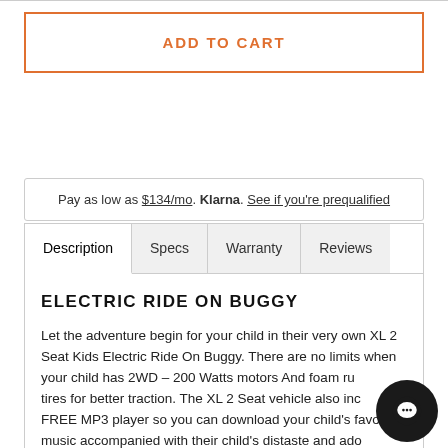ADD TO CART
Pay as low as $134/mo. Klarna. See if you're prequalified
Description | Specs | Warranty | Reviews
ELECTRIC RIDE ON BUGGY
Let the adventure begin for your child in their very own XL 2 Seat Kids Electric Ride On Buggy. There are no limits when your child has 2WD – 200 Watts motors  And foam rubber tires for better traction. The XL 2 Seat vehicle also includes a FREE MP3 player so you can download your child's favorite music accompanied with their child's favorite